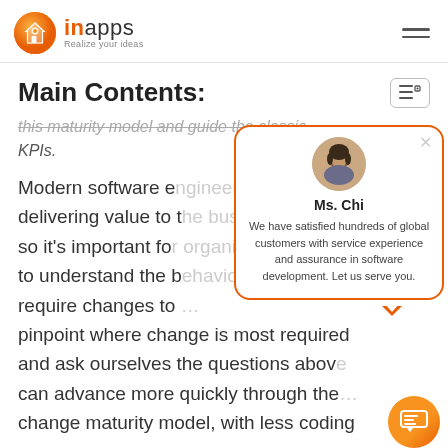inapps — Realize your ideas
Main Contents:
this maturity model and guide the classic KPIs.
Modern software engineering is about delivering value to the business, so it's important for organizations to understand the behaviors that require changes to pinpoint where change is most required and ask ourselves the questions above can advance more quickly through the change maturity model, with less coding
[Figure (other): Chat popup card featuring Ms. Chi with profile photo, name, and text: We have satisfied hundreds of global customers with service experience and assurance in software development. Let us serve you.]